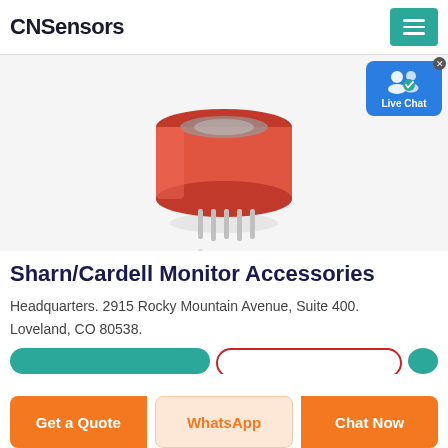CNSensors
[Figure (photo): An orange/red cylindrical gas sensor component with metal pins protruding from the bottom, photographed on a white background with a reflection.]
Sharn/Cardell Monitor Accessories
Headquarters. 2915 Rocky Mountain Avenue, Suite 400. Loveland, CO 80538.